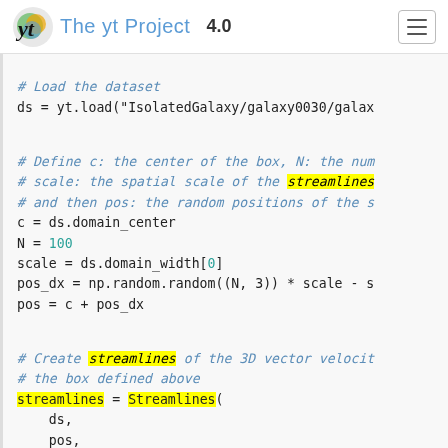The yt Project 4.0
[Figure (screenshot): Python code block showing yt streamlines example: loading dataset, defining center/N/scale/pos variables, and creating Streamlines object with velocity fields.]